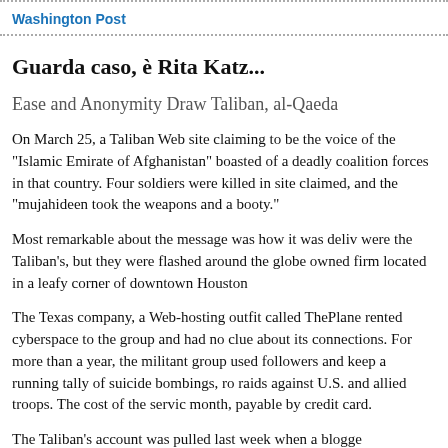Washington Post
Guarda caso, è Rita Katz...
Ease and Anonymity Draw Taliban, al-Qaeda
On March 25, a Taliban Web site claiming to be the voice of the "Islamic Emirate of Afghanistan" boasted of a deadly coalition forces in that country. Four soldiers were killed in site claimed, and the "mujahideen took the weapons and a booty."
Most remarkable about the message was how it was deliv were the Taliban's, but they were flashed around the globe owned firm located in a leafy corner of downtown Houston
The Texas company, a Web-hosting outfit called ThePlane rented cyberspace to the group and had no clue about its connections. For more than a year, the militant group used followers and keep a running tally of suicide bombings, ro raids against U.S. and allied troops. The cost of the servic month, payable by credit card.
The Taliban's account was pulled last week when a blogge